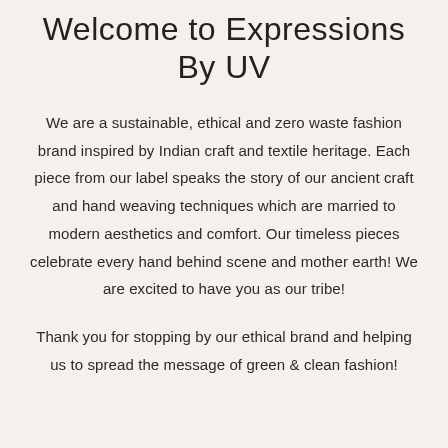Welcome to Expressions By UV
We are a sustainable, ethical and zero waste fashion brand inspired by Indian craft and textile heritage. Each piece from our label speaks the story of our ancient craft and hand weaving techniques which are married to modern aesthetics and comfort. Our timeless pieces celebrate every hand behind scene and mother earth! We are excited to have you as our tribe!
Thank you for stopping by our ethical brand and helping us to spread the message of green & clean fashion!